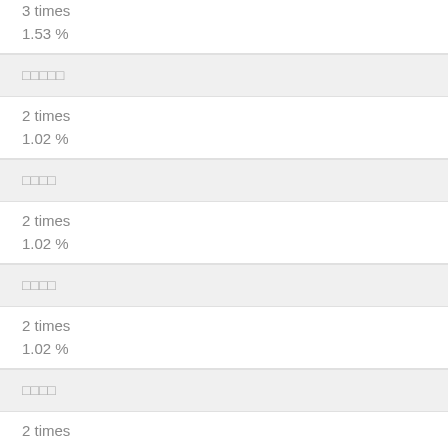3 times
1.53 %
□□□□□
2 times
1.02 %
□□□□
2 times
1.02 %
□□□□
2 times
1.02 %
□□□□
2 times
1.02 %
□□□□
2 times
1.02 %